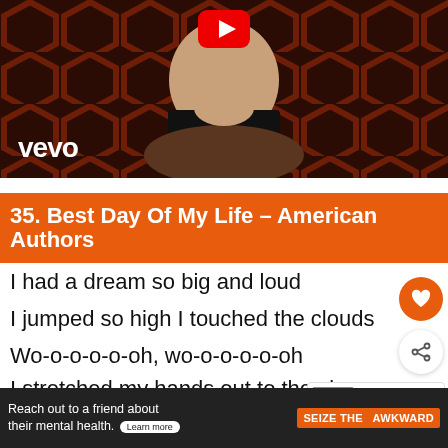[Figure (screenshot): Vevo YouTube video thumbnail showing a person in a dark turtleneck against a hexagonal patterned background with Vevo logo and YouTube play button]
35. Best Day Of My Life – American Authors
I had a dream so big and loud
I jumped so high I touched the clouds
Wo-o-o-o-o-oh, wo-o-o-o-o-oh
I stretched my hands out to the sky
We danced with monsters through the night
[Figure (screenshot): What's Next panel showing Best Funny Quotes and... with thumbnail image]
Reach out to a friend about their mental health. Learn more  SEIZE THE AWKWARD